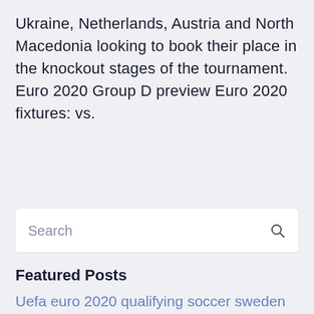Ukraine, Netherlands, Austria and North Macedonia looking to book their place in the knockout stages of the tournament. Euro 2020 Group D preview Euro 2020 fixtures: vs.
[Figure (other): Search bar with placeholder text 'Search' and a magnifying glass icon on the right]
Featured Posts
Uefa euro 2020 qualifying soccer sweden vs. poland